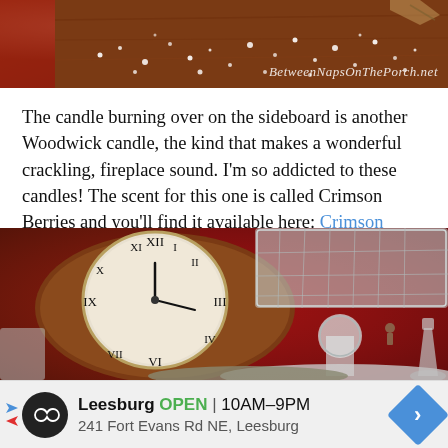[Figure (photo): Top portion of a decorative photo showing a wooden surface with sugar/snow sprinkles and a BetweenNapsOnThePorch.net watermark]
The candle burning over on the sideboard is another Woodwick candle, the kind that makes a wonderful crackling, fireplace sound. I'm so addicted to these candles! The scent for this one is called Crimson Berries and you'll find it available here: Crimson Berries.
[Figure (photo): Interior decorative photo showing an antique mantel clock with Roman numerals on a wooden case, crystal cake stand or compote, and red wall background]
Leesburg  OPEN  10AM–9PM  241 Fort Evans Rd NE, Leesburg